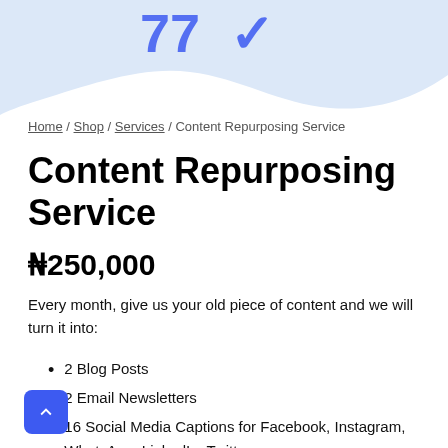[Figure (illustration): Decorative blue blob/wave shape at the top of the page with blue text/numbers partially visible]
Home / Shop / Services / Content Repurposing Service
Content Repurposing Service
₦250,000
Every month, give us your old piece of content and we will turn it into:
2 Blog Posts
2 Email Newsletters
16 Social Media Captions for Facebook, Instagram, WhatsApp, LinkedIn, Twitter
8 Social Media Graphics